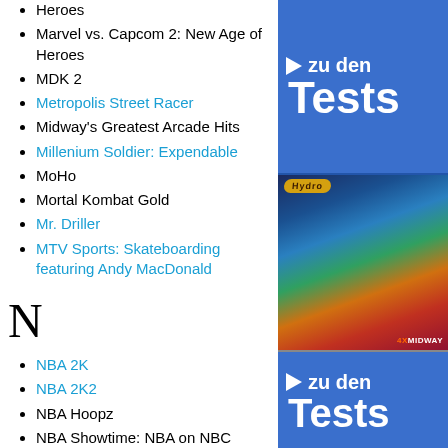Heroes
Marvel vs. Capcom 2: New Age of Heroes
MDK 2
Metropolis Street Racer
Midway's Greatest Arcade Hits
Millenium Soldier: Expendable
MoHo
Mortal Kombat Gold
Mr. Driller
MTV Sports: Skateboarding featuring Andy MacDonald
N
NBA 2K
NBA 2K2
NBA Hoopz
NBA Showtime: NBA on NBC
Next Tetris, The
NFL Blitz 2000
NFL Quarterback Club 2000
[Figure (illustration): Advertisement banner with blue background showing 'zu den Tests' text with play button arrow, Midway game advertisement with colorful racing/action game imagery, repeated 'zu den Tests' section below]